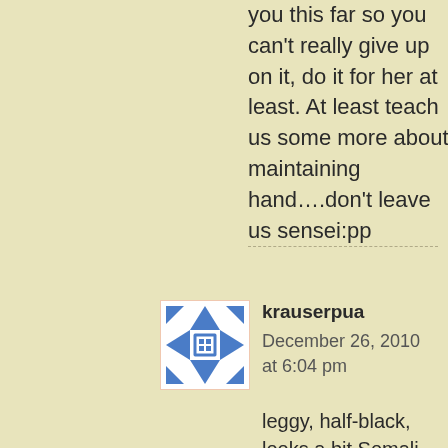you this far so you can't really give up on it, do it for her at least. At least teach us some more about maintaining hand….don't leave us sensei:pp
[Figure (illustration): Blue geometric/snowflake-style avatar icon on white background with light border]
krauserpua
December 26, 2010 at 6:04 pm
leggy, half-black, looks a bit Somali